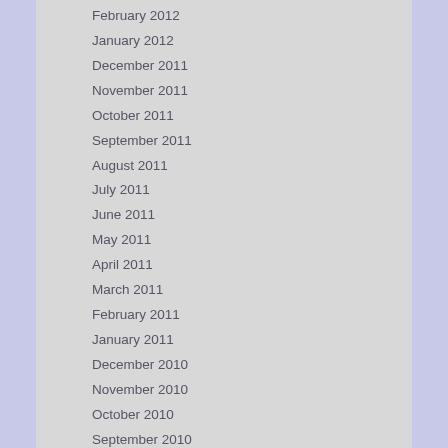February 2012
January 2012
December 2011
November 2011
October 2011
September 2011
August 2011
July 2011
June 2011
May 2011
April 2011
March 2011
February 2011
January 2011
December 2010
November 2010
October 2010
September 2010
August 2010
July 2010